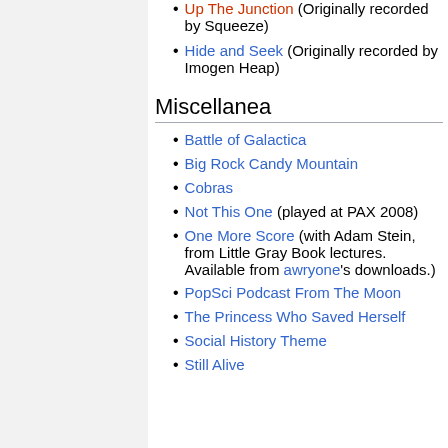Up The Junction (Originally recorded by Squeeze)
Hide and Seek (Originally recorded by Imogen Heap)
Miscellanea
Battle of Galactica
Big Rock Candy Mountain
Cobras
Not This One (played at PAX 2008)
One More Score (with Adam Stein, from Little Gray Book lectures. Available from awryone's downloads.)
PopSci Podcast From The Moon
The Princess Who Saved Herself
Social History Theme
Still Alive